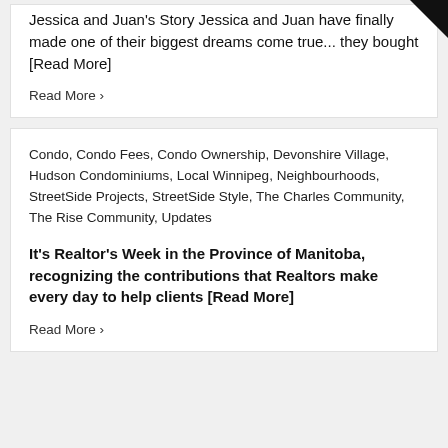Jessica and Juan's Story Jessica and Juan have finally made one of their biggest dreams come true... they bought [Read More]
Read More ›
Condo, Condo Fees, Condo Ownership, Devonshire Village, Hudson Condominiums, Local Winnipeg, Neighbourhoods, StreetSide Projects, StreetSide Style, The Charles Community, The Rise Community, Updates
It's Realtor's Week in the Province of Manitoba, recognizing the contributions that Realtors make every day to help clients [Read More]
Read More ›